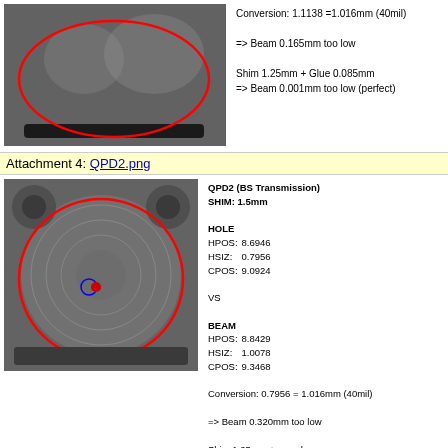[Figure (photo): Grayscale photo of optical component with red elliptical circle overlay]
Conversion: 1.1138 =1.016mm (40mil)

=> Beam 0.165mm too low

Shim 1.25mm + Glue 0.085mm
=> Beam 0.001mm too low (perfect)
Attachment 4: QPD2.png
[Figure (photo): Grayscale photo of QPD2 optical sensor with red elliptical overlay and blue/red circle markers]
QPD2 (BS Transmission)
SHIM: 1.5mm

HOLE
HPOS:   8.6946
HSIZ:   0.7956
CPOS:   9.0924

VS

BEAM
HPOS:   8.8429
HSIZ:   1.0078
CPOS:   9.3468

Conversion: 0.7956 = 1.016mm (40mil)

=> Beam 0.320mm too low

Shim 1.25mm + no sphere
=> Beam 0.070mm too low

Shim 1.25mm + Glue 0.085mm
=> Beam 0.155mm too low (not negligible but OK)
[Figure (schematic): Small circular QPD diagram with quadrant divisions, 3mm label at top, 23% and 57% labels on right]